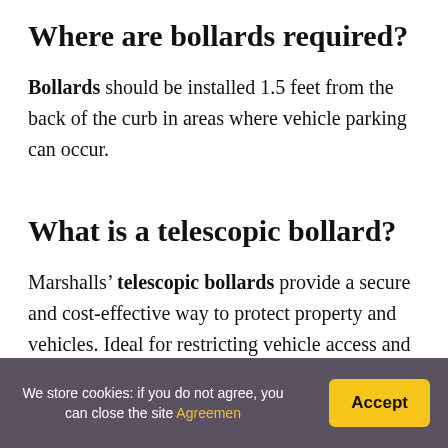Where are bollards required?
Bollards should be installed 1.5 feet from the back of the curb in areas where vehicle parking can occur.
What is a telescopic bollard?
Marshalls’ telescopic bollards provide a secure and cost-effective way to protect property and vehicles. Ideal for restricting vehicle access and fully retractable, they are designed to lock into position when required
We store cookies: if you do not agree, you can close the site Agreemen